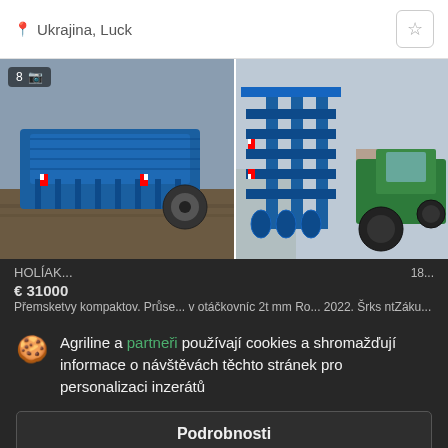Ukrajina, Luck
[Figure (photo): Blue agricultural cultivator/compactor machine on field, image count badge showing 8]
[Figure (photo): Blue agricultural disc harrow machine with tractor in background]
Agriline a partneři používají cookies a shromažďují informace o návštěvách těchto stránek pro personalizaci inzerátů
Podrobnosti
Přijmout a zavřít